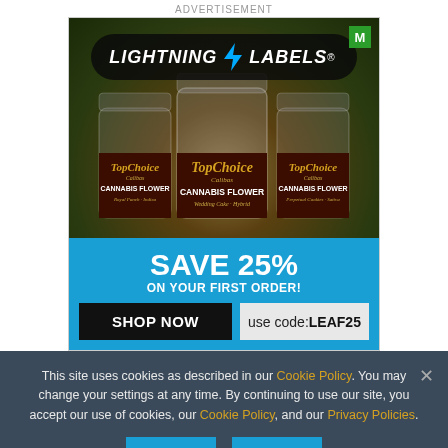ADVERTISEMENT
[Figure (photo): Lightning Labels advertisement showing three TopChoice Calibas cannabis flower jars with a blue promotional banner reading SAVE 25% ON YOUR FIRST ORDER! with SHOP NOW button and use code: LEAF25]
This site uses cookies as described in our Cookie Policy. You may change your settings at any time. By continuing to use our site, you accept our use of cookies, our Cookie Policy, and our Privacy Policies.
OK  NO